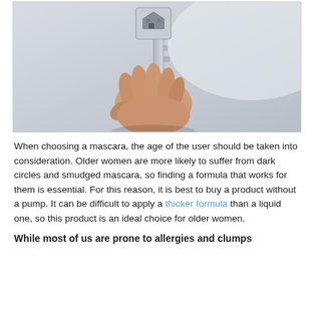[Figure (photo): A hand holding a small house-shaped key charm attached to a silver key, against a light background.]
When choosing a mascara, the age of the user should be taken into consideration. Older women are more likely to suffer from dark circles and smudged mascara, so finding a formula that works for them is essential. For this reason, it is best to buy a product without a pump. It can be difficult to apply a thicker formula than a liquid one, so this product is an ideal choice for older women.
While most of us are prone to allergies and clumps